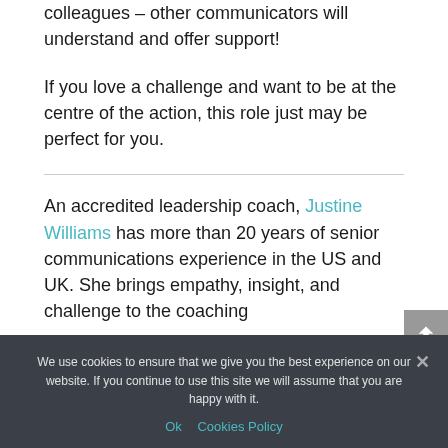colleagues – other communicators will understand and offer support!
If you love a challenge and want to be at the centre of the action, this role just may be perfect for you.
An accredited leadership coach, Justine Williams has more than 20 years of senior communications experience in the US and UK. She brings empathy, insight, and challenge to the coaching
We use cookies to ensure that we give you the best experience on our website. If you continue to use this site we will assume that you are happy with it.
Ok   Cookies Policy